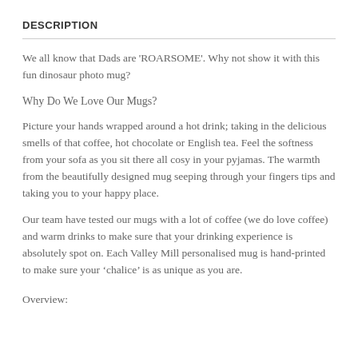DESCRIPTION
We all know that Dads are 'ROARSOME'. Why not show it with this fun dinosaur photo mug?
Why Do We Love Our Mugs?
Picture your hands wrapped around a hot drink; taking in the delicious smells of that coffee, hot chocolate or English tea. Feel the softness from your sofa as you sit there all cosy in your pyjamas. The warmth from the beautifully designed mug seeping through your fingers tips and taking you to your happy place.
Our team have tested our mugs with a lot of coffee (we do love coffee) and warm drinks to make sure that your drinking experience is absolutely spot on. Each Valley Mill personalised mug is hand-printed to make sure your ‘chalice’ is as unique as you are.
Overview: